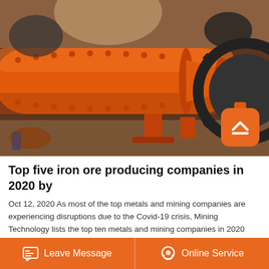[Figure (photo): Orange industrial ball mill machine in a factory/warehouse setting. Large cylindrical orange metal drum with flanges, bolts, and a large gear wheel on the right side.]
Top five iron ore producing companies in 2020 by
Oct 12, 2020 As most of the top metals and mining companies are experiencing disruptions due to the Covid-19 crisis, Mining Technology lists the top ten metals and mining companies in 2020
Leave Message   Online Service